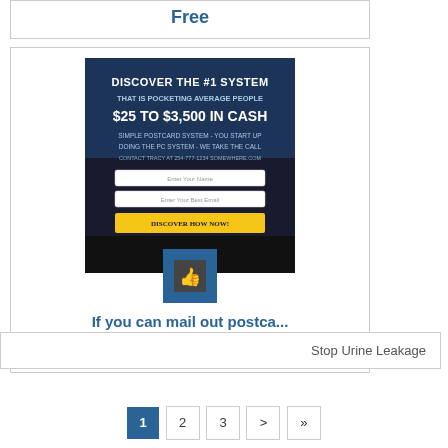Free
[Figure (screenshot): Advertisement banner showing 'Discover the #1 System that is pocketing average people $25 to $3,500 in cash. Simple postcard system - you start up doing the pc system - we take the call' with a thumbs-up icon overlay]
If you can mail out postca...
Free
Stop Urine Leakage
1 2 3 > »